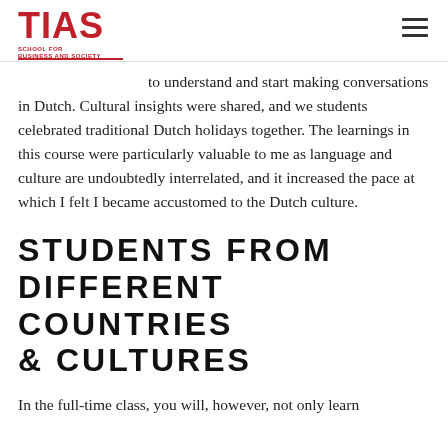TIAS — School for Business and Society
to understand and start making conversations in Dutch. Cultural insights were shared, and we students celebrated traditional Dutch holidays together. The learnings in this course were particularly valuable to me as language and culture are undoubtedly interrelated, and it increased the pace at which I felt I became accustomed to the Dutch culture.
STUDENTS FROM DIFFERENT COUNTRIES & CULTURES
In the full-time class, you will, however, not only learn